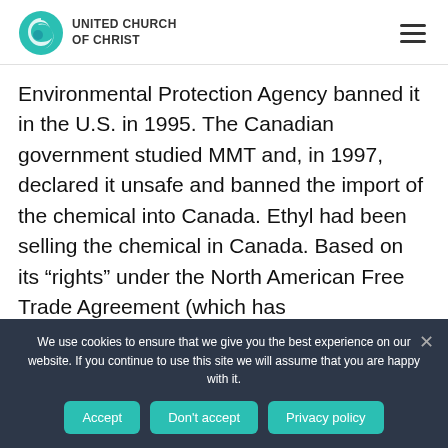UNITED CHURCH OF CHRIST
Environmental Protection Agency banned it in the U.S. in 1995. The Canadian government studied MMT and, in 1997, declared it unsafe and banned the import of the chemical into Canada. Ethyl had been selling the chemical in Canada. Based on its “rights” under the North American Free Trade Agreement (which has
We use cookies to ensure that we give you the best experience on our website. If you continue to use this site we will assume that you are happy with it.
Accept
Don't accept
Privacy policy